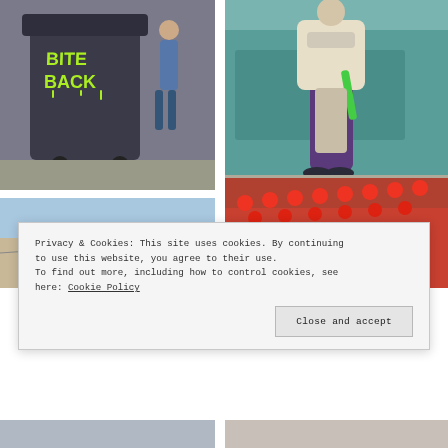[Figure (photo): Street photo of a dark wheelie bin with green graffiti text 'BITE BACK', person walking in background on a sidewalk]
[Figure (photo): Person wearing purple wide-leg trousers and cream jacket, standing in front of a teal-colored shopfront, holding green accessory]
[Figure (photo): Street scene looking up at red lanterns strung across a street with blue sky background, buildings visible]
[Figure (photo): Chinatown street scene with many red lanterns hanging from buildings, storefront signs visible]
[Figure (photo): Street photo partial view, bottom row left]
[Figure (photo): Street photo partial view, bottom row right]
Privacy & Cookies: This site uses cookies. By continuing to use this website, you agree to their use.
To find out more, including how to control cookies, see here: Cookie Policy
Close and accept